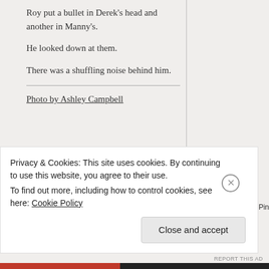Roy put a bullet in Derek's head and another in Manny's.
He looked down at them.
There was a shuffling noise behind him.
Photo by Ashley Campbell
Share this:
Privacy & Cookies: This site uses cookies. By continuing to use this website, you agree to their use.
To find out more, including how to control cookies, see here: Cookie Policy
Close and accept
REPORT THIS AD